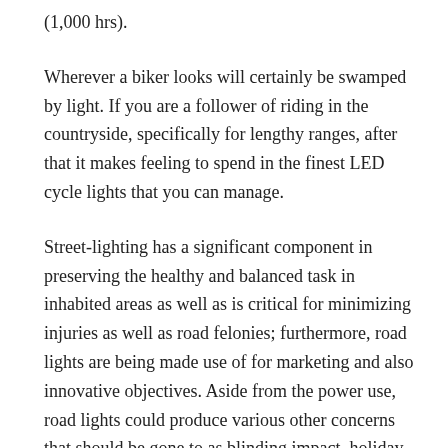(1,000 hrs).
Wherever a biker looks will certainly be swamped by light. If you are a follower of riding in the countryside, specifically for lengthy ranges, after that it makes feeling to spend in the finest LED cycle lights that you can manage.
Street-lighting has a significant component in preserving the healthy and balanced task in inhabited areas as well as is critical for minimizing injuries as well as road felonies; furthermore, road lights are being made use of for marketing and also innovative objectives. Aside from the power use, road lights could produce various other concerns that should be gone to as blinding impact, holiday accommodation response, lighting air pollution and also upkeep troubles. The optimal service for lighting outside locations need to provide a total